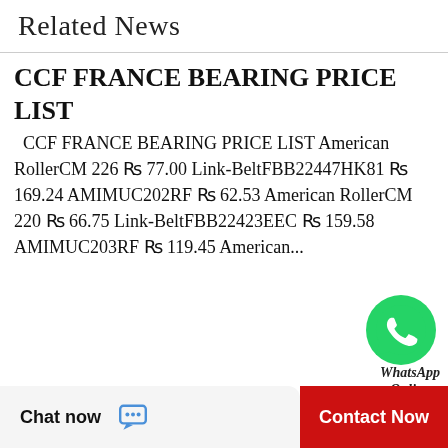Related News
CCF FRANCE BEARING PRICE LIST
CCF FRANCE BEARING PRICE LIST American RollerCM 226 ₨ 77.00 Link-BeltFBB22447HK81 ₨ 169.24 AMIMUC202RF ₨ 62.53 American RollerCM 220 ₨ 66.75 Link-BeltFBB22423EEC ₨ 159.58 AMIMUC203RF ₨ 119.45 American...
[Figure (logo): WhatsApp green circle logo icon with phone handset]
WhatsApp Online
NTN BALL BEARING PRICE LIST
NTN BALL BEARING PRICE LIST Shuster6213 ZZ JEM $20.34 Timken6455-20024 $91.31 DodgeP2B-IP-206LE $123.90 Shuster6314 2RS JEM $81.43 Timken98335-70000 $5.98 FAG6202-C3 $111.53 Timken77364-20024 $90.01
Chat now   Contact Now